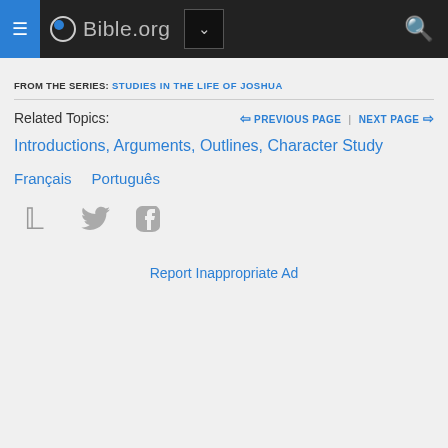Bible.org
FROM THE SERIES: STUDIES IN THE LIFE OF JOSHUA
Related Topics:
PREVIOUS PAGE | NEXT PAGE
Introductions, Arguments, Outlines, Character Study
Français   Português
[Figure (other): Twitter and Facebook social media icons]
Report Inappropriate Ad